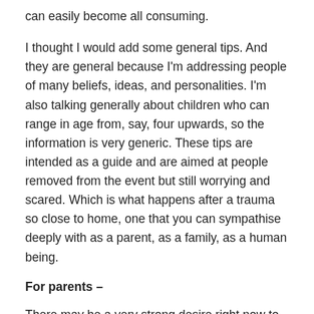can easily become all consuming.
I thought I would add some general tips. And they are general because I'm addressing people of many beliefs, ideas, and personalities. I'm also talking generally about children who can range in age from, say, four upwards, so the information is very generic. These tips are intended as a guide and are aimed at people removed from the event but still worrying and scared. Which is what happens after a trauma so close to home, one that you can sympathise deeply with as a parent, as a family, as a human being.
For parents –
There may be a very strong desire right now to keep your child/ren close to you. Wanting to keep them away from some events you may never have thought twice about previously as you work through some worries and emotions of your own. For a